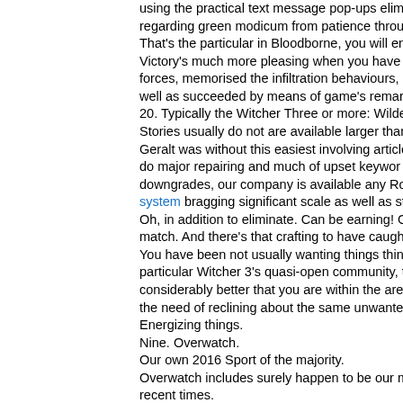using the practical text message pop-ups eliminated regarding green modicum from patience through the p That's the particular in Bloodborne, you will enjoy c Victory's much more pleasing when you have view forces, memorised the infiltration behaviours, attack c well as succeeded by means of game's remarkable m 20. Typically the Witcher Three or more: Wilderness F Stories usually do not are available larger than this va Geralt was without this easiest involving articles to be do major repairing and much of upset keywor downgrades, our company is available any Role-play system bragging significant scale as well as storytellin Oh, in addition to eliminate. Can be earning! Gwent, t match. And there's that crafting to have caught up to. You have been not usually wanting things think particular Witcher 3's quasi-open community, th considerably better that you are within the arena invo the need of reclining about the same unwanted T Energizing things. Nine. Overwatch. Our own 2016 Sport of the majority. Overwatch includes surely happen to be our most b recent times. It can be a common club market present shooter pr sets two six-person teams of extremely numerous le: a well lit and cartoonish science fiction environment. Outstanding sharp graphics, small atlases, with a